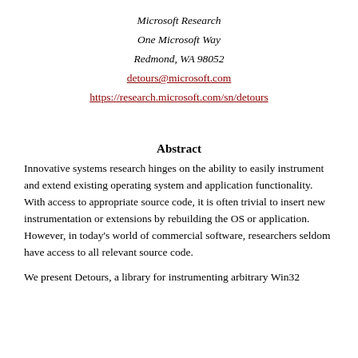Microsoft Research
One Microsoft Way
Redmond, WA 98052
detours@microsoft.com
https://research.microsoft.com/sn/detours
Abstract
Innovative systems research hinges on the ability to easily instrument and extend existing operating system and application functionality. With access to appropriate source code, it is often trivial to insert new instrumentation or extensions by rebuilding the OS or application. However, in today's world of commercial software, researchers seldom have access to all relevant source code.
We present Detours, a library for instrumenting arbitrary Win32 binary functions on x86 machines.